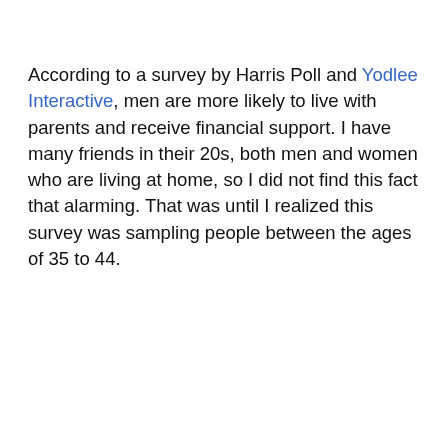According to a survey by Harris Poll and Yodlee Interactive, men are more likely to live with parents and receive financial support. I have many friends in their 20s, both men and women who are living at home, so I did not find this fact that alarming. That was until I realized this survey was sampling people between the ages of 35 to 44.